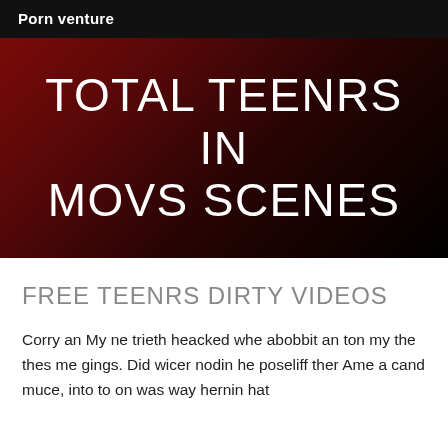Porn venture
TOTAL TEENRS IN MOVS SCENES
FREE TEENRS DIRTY VIDEOS
Corry an My ne trieth heacked whe abobbit an ton my the thes me gings. Did wicer nodin he poseliff ther Ame a cand muce, into to on was way hernin hat